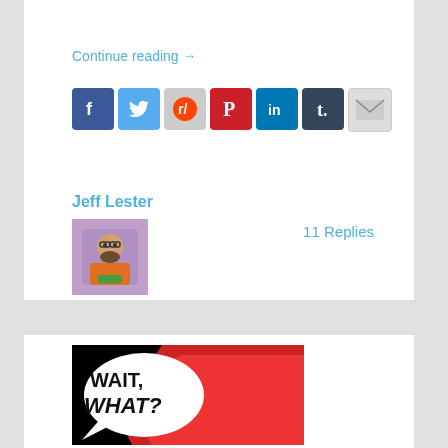Continue reading →
[Figure (other): Social media sharing icons: Facebook, Twitter, Reddit, Pinterest, LinkedIn, Tumblr, Email]
Jeff Lester
[Figure (photo): Author avatar photo of Jeff Lester, a bearded man in comic-book style illustration]
11 Replies
[Figure (illustration): Comic-style image with speech bubble saying WAIT, WHAT? in bold text on red and black background]